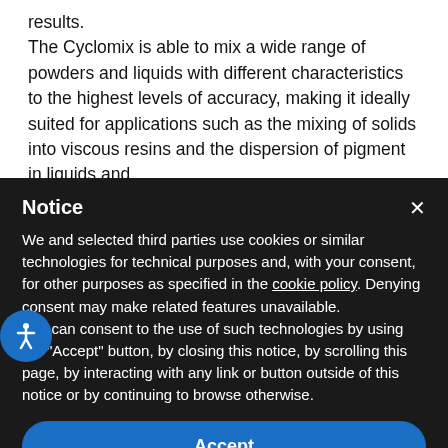results. The Cyclomix is able to mix a wide range of powders and liquids with different characteristics to the highest levels of accuracy, making it ideally suited for applications such as the mixing of solids into viscous resins and the dispersion of pigment in liquids and
Notice
We and selected third parties use cookies or similar technologies for technical purposes and, with your consent, for other purposes as specified in the cookie policy. Denying consent may make related features unavailable. You can consent to the use of such technologies by using the "Accept" button, by closing this notice, by scrolling this page, by interacting with any link or button outside of this notice or by continuing to browse otherwise.